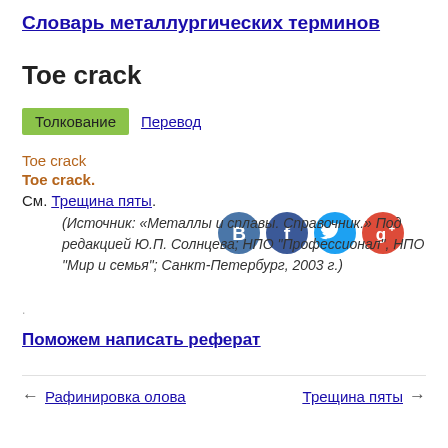Словарь металлургических терминов
Toe crack
Толкование   Перевод
Toe crack
Toe crack.
См. Трещина пяты.
(Источник: «Металлы и сплавы. Справочник.» Под редакцией Ю.П. Солнцева; НПО "Профессионал", НПО "Мир и семья"; Санкт-Петербург, 2003 г.)
Поможем написать реферат
← Рафинировка олова   Трещина пяты →